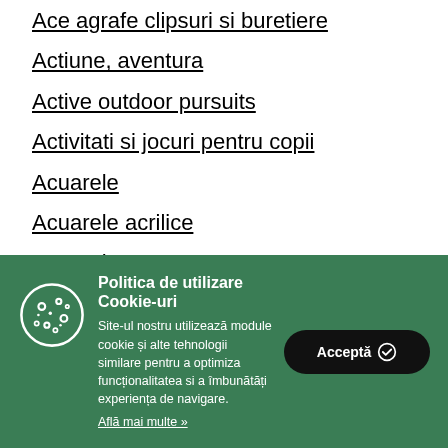Ace agrafe clipsuri si buretiere
Actiune, aventura
Active outdoor pursuits
Activitati si jocuri pentru copii
Acuarele
Acuarele acrilice
Acuarele guase
[Figure (other): Cookie icon (circle with dots)]
Politica de utilizare Cookie-uri
Site-ul nostru utilizează module cookie și alte tehnologii similare pentru a optimiza funcționalitatea si a îmbunătăți experiența de navigare.
Află mai multe »